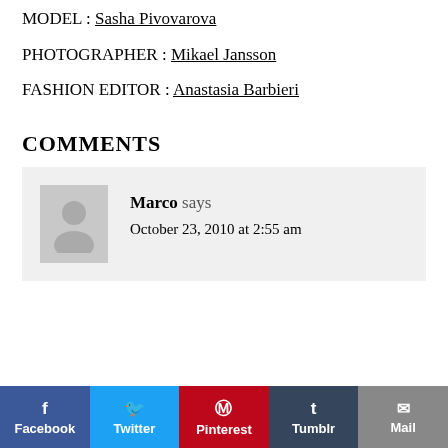MODEL : Sasha Pivovarova
PHOTOGRAPHER : Mikael Jansson
FASHION EDITOR : Anastasia Barbieri
COMMENTS
Marco says
October 23, 2010 at 2:55 am
Facebook | Twitter | Pinterest | Tumblr | Mail